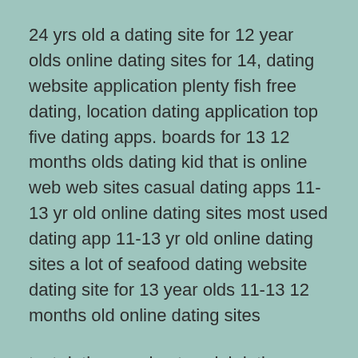24 yrs old a dating site for 12 year olds online dating sites for 14, dating website application plenty fish free dating, location dating application top five dating apps. boards for 13 12 months olds dating kid that is online web web sites casual dating apps 11-13 yr old online dating sites most used dating app 11-13 yr old online dating sites a lot of seafood dating website dating site for 13 year olds 11-13 12 months old online dating sites
text dating app best social dating app; the greatest free dating app. 13 12 months old dating 20 yr old – 12 year love that is old: